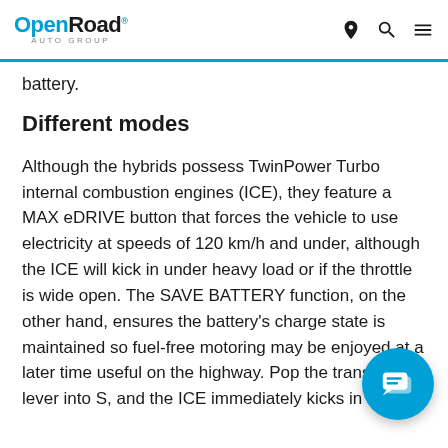OpenRoad AUTO GROUP
battery.
Different modes
Although the hybrids possess TwinPower Turbo internal combustion engines (ICE), they feature a MAX eDRIVE button that forces the vehicle to use electricity at speeds of 120 km/h and under, although the ICE will kick in under heavy load or if the throttle is wide open. The SAVE BATTERY function, on the other hand, ensures the battery’s charge state is maintained so fuel-free motoring may be enjoyed at a later time useful on the highway. Pop the transmission lever into S, and the ICE immediately kicks in and
[Figure (other): Blue circular chat/message support button overlay in the bottom-right corner of the page]